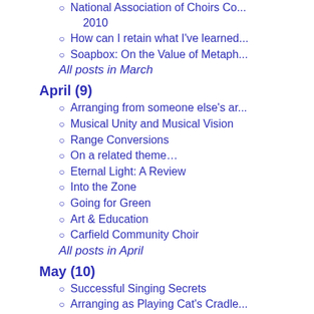National Association of Choirs Co... 2010
How can I retain what I've learned...
Soapbox: On the Value of Metaph...
All posts in March
April (9)
Arranging from someone else's ar...
Musical Unity and Musical Vision
Range Conversions
On a related theme…
Eternal Light: A Review
Into the Zone
Going for Green
Art & Education
Carfield Community Choir
All posts in April
May (10)
Successful Singing Secrets
Arranging as Playing Cat's Cradle...
Amersham Again
The 'C' word, 'F' word and how to... stereotypes
Sweet Adelines at Gateshead
Soapbox: Pointing the Finger
Cheltenham Festival of Performing...
Tone, Articulation & Venue
Back to Bristol
Start as you mean to go on